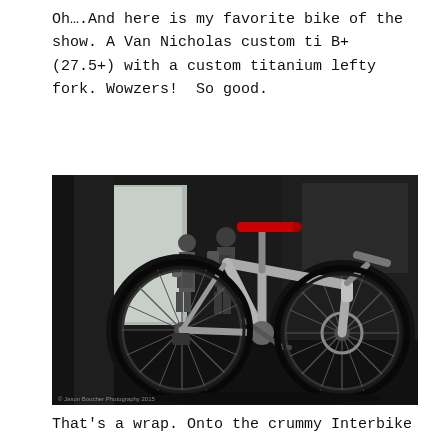Oh….And here is my favorite bike of the show. A Van Nicholas custom ti B+ (27.5+) with a custom titanium lefty fork. Wowzers!  So good.
[Figure (photo): A Van Nicholas custom titanium mountain bike with wide tires (B+ / 27.5+) and a custom titanium lefty fork, displayed indoors on a reflective dark floor. Two people with backpacks are visible in the background. A watermark reads '© Jason Boucher Photography 2015'.]
That's a wrap. Onto the crummy Interbike